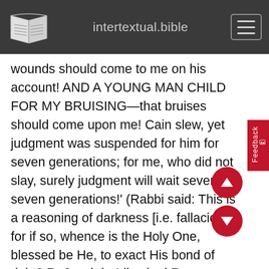intertextual.bible
wounds should come to me on his account! AND A YOUNG MAN CHILD FOR MY BRUISING—that bruises should come upon me! Cain slew, yet judgment was suspended for him for seven generations; for me, who did not slay, surely judgment will wait seventy-seven generations!' (Rabbi said: This is a reasoning of darkness [i.e. fallacious]: for if so, whence is the Holy One, blessed be He, to exact His bond of debt? R. Jacob b. Idi asked R. Johanan: If a man, why a child, if a child, why a man? He was a man in deeds and a child in years.) Said he [Lamech] to them [his wives]: 'Come, let us go to Adam [and consult him].' So they went to him. He said to them: 'Do you do your duty, what the Holy One, blessed be He, will do His.' 'Physician,